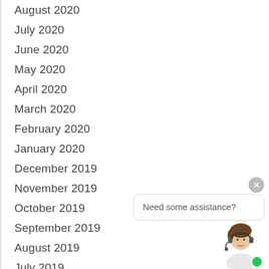August 2020
July 2020
June 2020
May 2020
April 2020
March 2020
February 2020
January 2020
December 2019
November 2019
October 2019
September 2019
August 2019
July 2019
June 2019
May 2019
[Figure (illustration): Chat widget with a female customer service agent avatar wearing a headset, a speech bubble saying 'Need some assistance?', a close button (x), and a green online indicator dot.]